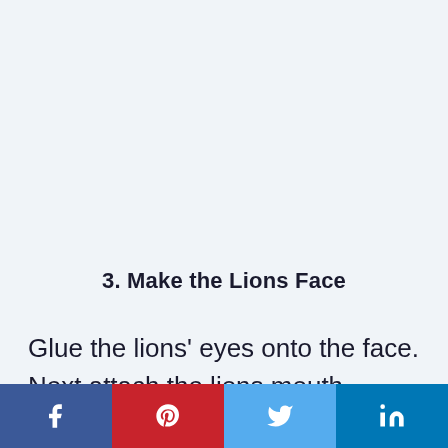3. Make the Lions Face
Glue the lions' eyes onto the face. Next attach the lions mouth towards the bottom
[Figure (infographic): Social media share buttons bar at bottom: Facebook (blue), Pinterest (red), Twitter (light blue), LinkedIn (dark blue)]